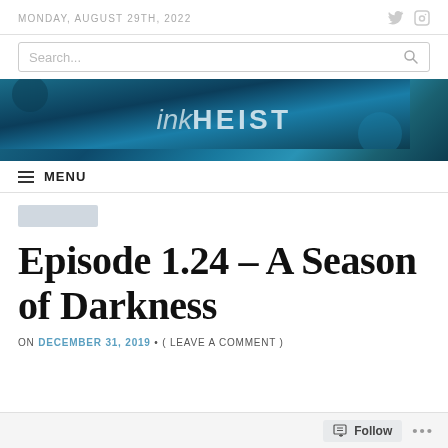MONDAY, AUGUST 29TH, 2022
[Figure (screenshot): Search bar with magnifying glass icon]
[Figure (logo): inkHEIST banner logo on blue textured background]
MENU
Episode 1.24 – A Season of Darkness
ON DECEMBER 31, 2019 • ( LEAVE A COMMENT )